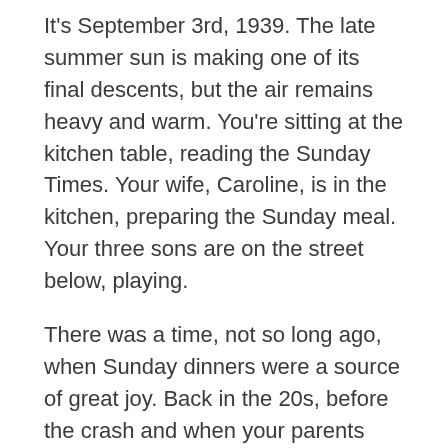It's September 3rd, 1939. The late summer sun is making one of its final descents, but the air remains heavy and warm. You're sitting at the kitchen table, reading the Sunday Times. Your wife, Caroline, is in the kitchen, preparing the Sunday meal. Your three sons are on the street below, playing.
There was a time, not so long ago, when Sunday dinners were a source of great joy. Back in the 20s, before the crash and when your parents were alive, the whole family gathered each week to break bread.
It was normal to have fifteen people in the